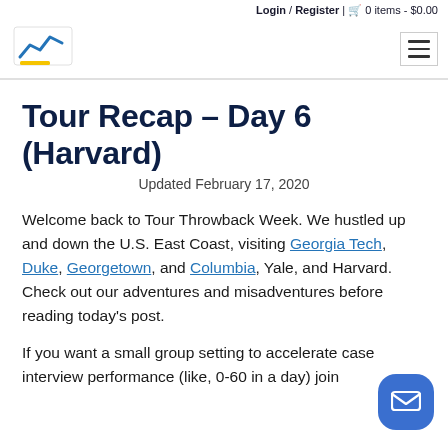Login / Register | 🛒 0 items - $0.00
[Figure (logo): Stylized chart/graph logo icon with blue mountain-like line and yellow underline bar]
Tour Recap – Day 6 (Harvard)
Updated February 17, 2020
Welcome back to Tour Throwback Week. We hustled up and down the U.S. East Coast, visiting Georgia Tech, Duke, Georgetown, and Columbia, Yale, and Harvard. Check out our adventures and misadventures before reading today's post.
If you want a small group setting to accelerate case interview performance (like, 0-60 in a day) join